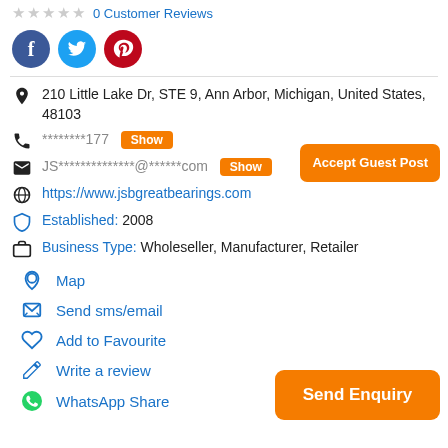0 Customer Reviews
Social share icons: Facebook, Twitter, Pinterest
210 Little Lake Dr, STE 9, Ann Arbor, Michigan, United States, 48103
********177 Show
JS**************@******com Show
https://www.jsbgreatbearings.com
Established: 2008
Business Type: Wholeseller, Manufacturer, Retailer
Accept Guest Post
Map
Send sms/email
Add to Favourite
Write a review
WhatsApp Share
Send Enquiry